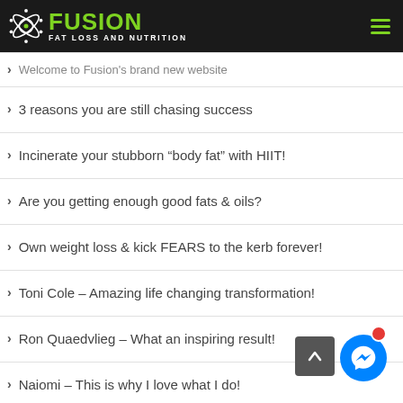FUSION FAT LOSS AND NUTRITION
Welcome to Fusion's brand new website
3 reasons you are still chasing success
Incinerate your stubborn “body fat” with HIIT!
Are you getting enough good fats & oils?
Own weight loss & kick FEARS to the kerb forever!
Toni Cole – Amazing life changing transformation!
Ron Quaedvlieg – What an inspiring result!
Naiomi – This is why I love what I do!